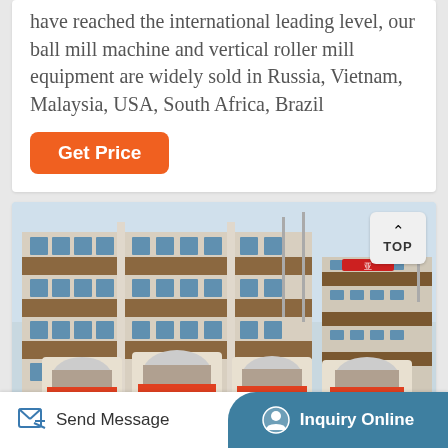have reached the international leading level, our ball mill machine and vertical roller mill equipment are widely sold in Russia, Vietnam, Malaysia, USA, South Africa, Brazil
[Figure (other): Orange 'Get Price' button]
[Figure (photo): Photo of a multi-story industrial/office building complex with machinery (ball mills) in the foreground. A 'TOP' navigation button is overlaid in the top-right corner.]
[Figure (other): Bottom navigation bar with 'Send Message' on left and 'Inquiry Online' button on right with teal background]